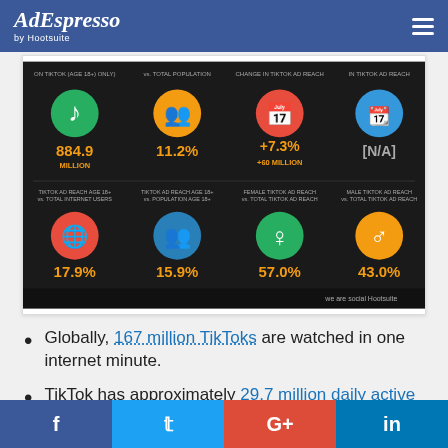AdEspresso by Hootsuite
[Figure (infographic): TikTok ad reach statistics infographic on dark background showing: On TikTok (Age 18+) 884.9 Million; vs Total Population 11.2%; Change in TikTok Ad Reach +7.3% +60 Million; In TikTok Ad Reach [N/A]; TikTok Ad Reach Age 18+ vs Total Internet Users 17.9%; TikTok Ad Reach Age 18+ vs Population Age 18+ 15.9%; Female TikTok Ad Reach vs Total TikTok Ad Reach 57.0%; Male TikTok Ad Reach vs Total TikTok Ad Reach 43.0%]
Globally, 167 million TikToks are watched in one internet minute.
TikTok has approximately 29.7 million daily active users and 120.5 million monthly active users.
Facebook Twitter G+ LinkedIn